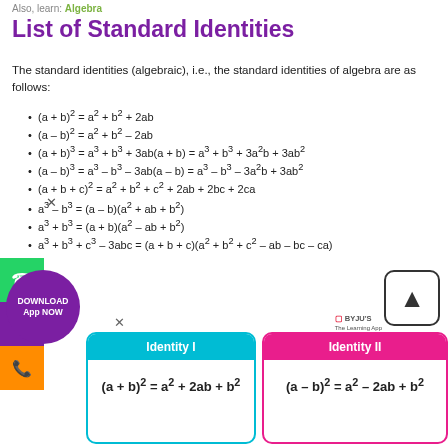Also, learn: Algebra
List of Standard Identities
The standard identities (algebraic), i.e., the standard identities of algebra are as follows:
(a + b)² = a² + b² + 2ab
(a – b)² = a² + b² – 2ab
(a + b)³ = a³ + b³ + 3ab(a + b) = a³ + b³ + 3a²b + 3ab²
(a – b)³ = a³ – b³ – 3ab(a – b) = a³ – b³ – 3a²b + 3ab²
(a + b + c)² = a² + b² + c² + 2ab + 2bc + 2ca
a³ – b³ = (a – b)(a² + ab + b²)
a³ + b³ = (a + b)(a² – ab + b²)
a³ + b³ + c³ – 3abc = (a + b + c)(a² + b² + c² – ab – bc – ca)
[Figure (infographic): Identity I card: (a + b)² = a² + 2ab + b²]
[Figure (infographic): Identity II card: (a – b)² = a² – 2ab + b²]